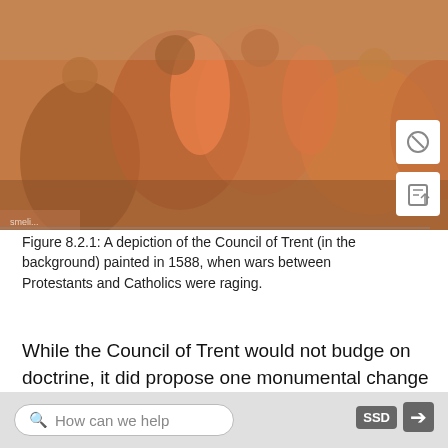[Figure (photo): A depiction of the Council of Trent painting from 1588, showing robed figures in classical Renaissance style with warm orange/red tones.]
Figure 8.2.1: A depiction of the Council of Trent (in the background) painted in 1588, when wars between Protestants and Catholics were raging.
While the Council of Trent would not budge on doctrine, it did propose one monumental change to the Church: henceforth, priests would be formally trained for the job. After Trent, the Church organized and funded seminaries, colleges whose express purpose was the training of new priests. There, all priests would acquire a strong scholastic education (and, soon, most seminaries also included a humanistic education as